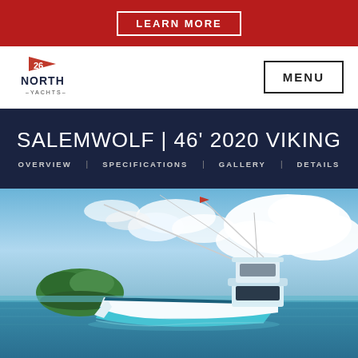LEARN MORE
[Figure (logo): 26 North Yachts logo with red pennant flag]
MENU
SALEMWOLF | 46' 2020 VIKING
OVERVIEW   SPECIFICATIONS   GALLERY   DETAILS
[Figure (photo): A white and turquoise Viking 46 sport fishing yacht named Salemwolf on calm ocean water with a small green island and dramatic cloudy blue sky in the background]